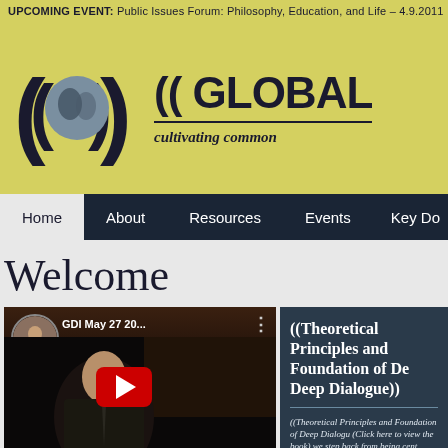UPCOMING EVENT: Public Issues Forum: Philosophy, Education, and Life – 4.9.2011 →
[Figure (logo): Global Dialogue Institute logo with globe and parentheses icon on yellow background, with text '(( GLOBAL' and subtitle 'cultivating common']
Home | About | Resources | Events | Key Do...
Welcome
[Figure (screenshot): YouTube video embed showing 'GDI May 27 20...' with red play button and thumbnail of man speaking]
((Theoretical Principles and Foundation of Deep Dialogue))
((Theoretical Principles and Foundation of Deep Dialogue (Click here to view the book) we step back from being cent within and privileging